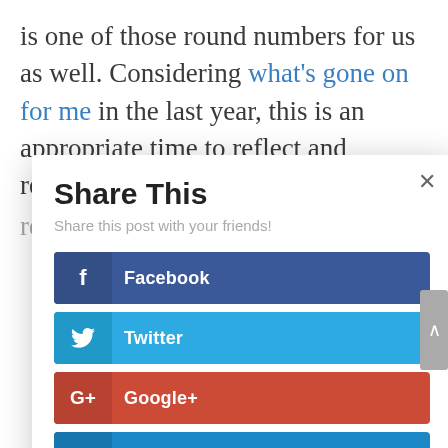is one of those round numbers for us as well. Considering what's gone on for me in the last year, this is an appropriate time to reflect and remember that you really never do know what's ahead. I'm
[Figure (screenshot): A 'Share This' modal dialog overlay with title 'Share This', subtitle 'Share this post with your friends!', and four social sharing buttons: Facebook (dark blue), Twitter (light blue), Google+ (red), LinkedIn (blue). There is a close (×) button in the top right corner.]